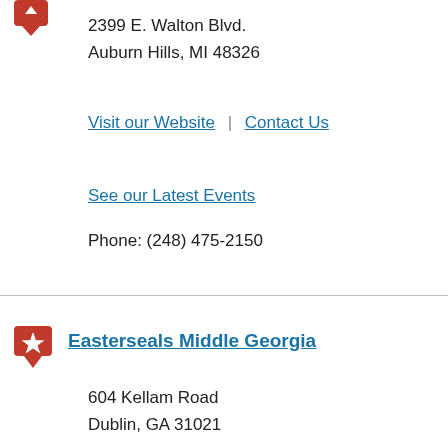2399 E. Walton Blvd.
Auburn Hills, MI 48326
Visit our Website | Contact Us
See our Latest Events
Phone: (248) 475-2150
Easterseals Middle Georgia
604 Kellam Road
Dublin, GA 31021
Visit our Website | Contact Us